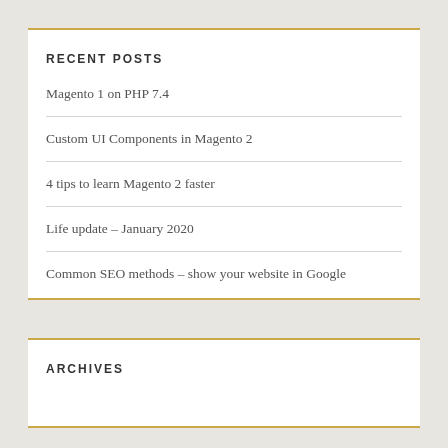RECENT POSTS
Magento 1 on PHP 7.4
Custom UI Components in Magento 2
4 tips to learn Magento 2 faster
Life update – January 2020
Common SEO methods – show your website in Google
ARCHIVES